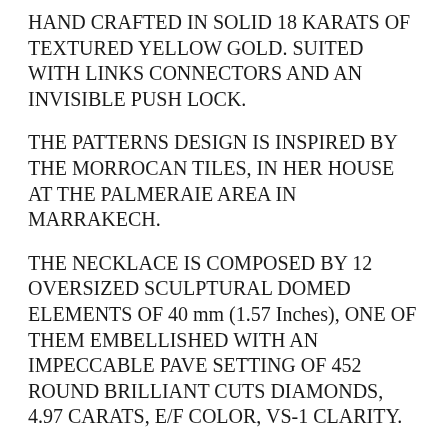HAND CRAFTED IN SOLID 18 KARATS OF TEXTURED YELLOW GOLD. SUITED WITH LINKS CONNECTORS AND AN INVISIBLE PUSH LOCK.
THE PATTERNS DESIGN IS INSPIRED BY THE MORROCAN TILES, IN HER HOUSE AT THE PALMERAIE AREA IN MARRAKECH.
THE NECKLACE IS COMPOSED BY 12 OVERSIZED SCULPTURAL DOMED ELEMENTS OF 40 mm (1.57 Inches), ONE OF THEM EMBELLISHED WITH AN IMPECCABLE PAVE SETTING OF 452 ROUND BRILLIANT CUTS DIAMONDS, 4.97 CARATS, E/F COLOR, VS-1 CLARITY.
HAVE A TOTAL WEIGHT OF 184.5 Grams AND A LENGTH OF 16.5 Inches.